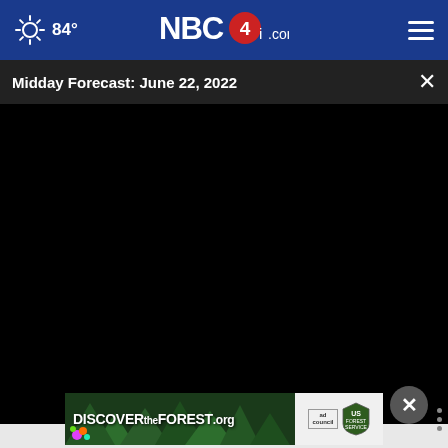84° NBC4i.com
Midday Forecast: June 22, 2022
[Figure (screenshot): Black video player area for NBC4i news broadcast]
[Figure (other): Discover the Forest .org advertisement banner with ad council and US Forest Service logos]
DISCOVERtheFOREST.org